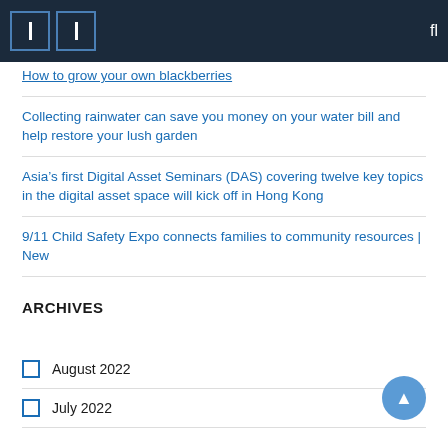Navigation bar with menu icons and search
How to grow your own blackberries
Collecting rainwater can save you money on your water bill and help restore your lush garden
Asia’s first Digital Asset Seminars (DAS) covering twelve key topics in the digital asset space will kick off in Hong Kong
9/11 Child Safety Expo connects families to community resources | New
ARCHIVES
August 2022
July 2022